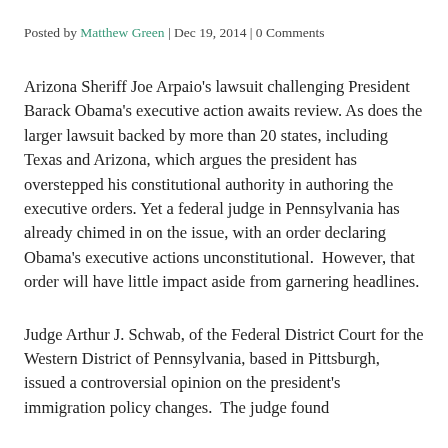Posted by Matthew Green | Dec 19, 2014 | 0 Comments
Arizona Sheriff Joe Arpaio's lawsuit challenging President Barack Obama's executive action awaits review. As does the larger lawsuit backed by more than 20 states, including Texas and Arizona, which argues the president has overstepped his constitutional authority in authoring the executive orders. Yet a federal judge in Pennsylvania has already chimed in on the issue, with an order declaring Obama's executive actions unconstitutional.  However, that order will have little impact aside from garnering headlines.
Judge Arthur J. Schwab, of the Federal District Court for the Western District of Pennsylvania, based in Pittsburgh, issued a controversial opinion on the president's immigration policy changes.  The judge found that Obama's executive action exceeded the president's